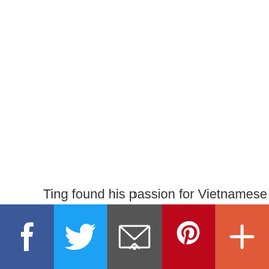Ting found his passion for Vietnamese ethnic
[Figure (infographic): Social media sharing bar with five buttons: Facebook (dark blue), Twitter (light blue), Email (gray), Pinterest (red), and More/Plus (orange-red). Each button displays a white icon of the respective platform or action.]